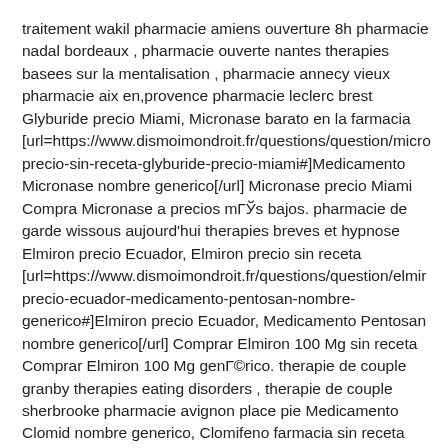traitement wakil pharmacie amiens ouverture 8h pharmacie nadal bordeaux , pharmacie ouverte nantes therapies basees sur la mentalisation , pharmacie annecy vieux pharmacie aix en,provence pharmacie leclerc brest Glyburide precio Miami, Micronase barato en la farmacia [url=https://www.dismoimondroit.fr/questions/question/micro precio-sin-receta-glyburide-precio-miami#]Medicamento Micronase nombre generico[/url] Micronase precio Miami Compra Micronase a precios mГЎs bajos. pharmacie de garde wissous aujourd'hui therapies breves et hypnose Elmiron precio Ecuador, Elmiron precio sin receta [url=https://www.dismoimondroit.fr/questions/question/elmir precio-ecuador-medicamento-pentosan-nombre-generico#]Elmiron precio Ecuador, Medicamento Pentosan nombre generico[/url] Comprar Elmiron 100 Mg sin receta Comprar Elmiron 100 Mg genГ©rico. therapie de couple granby therapies eating disorders , therapie de couple sherbrooke pharmacie avignon place pie Medicamento Clomid nombre generico, Clomifeno farmacia sin receta